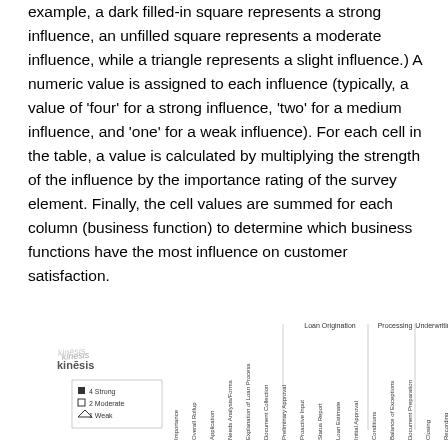example, a dark filled-in square represents a strong influence, an unfilled square represents a moderate influence, while a triangle represents a slight influence.)  A numeric value is assigned to each influence (typically, a value of 'four' for a strong influence, 'two' for a medium influence, and 'one' for a weak influence).  For each cell in the table, a value is calculated by multiplying the strength of the influence by the importance rating of the survey element.  Finally, the cell values are summed for each column (business function) to determine which business functions have the most influence on customer satisfaction.
[Figure (other): Partial view of a chart titled with axes for Loan Origination, Processing, Underwriting, and Closing, with a legend showing Strong, Moderate, and Weak symbols, and rotated text labels on x-axis. The kinesis logo is visible.]